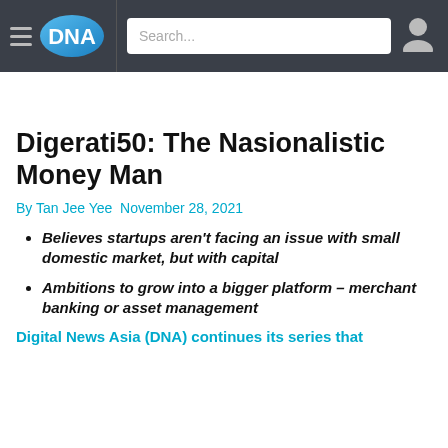DNA — Digital News Asia | Search bar | User icon
Digerati50: The Nasionalistic Money Man
By Tan Jee Yee November 28, 2021
Believes startups aren't facing an issue with small domestic market, but with capital
Ambitions to grow into a bigger platform – merchant banking or asset management
Digital News Asia (DNA) continues its series that